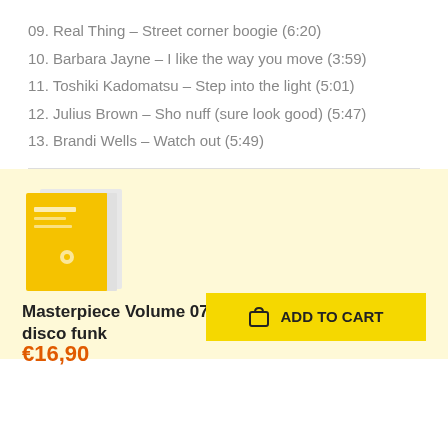09. Real Thing – Street corner boogie (6:20)
10. Barbara Jayne – I like the way you move (3:59)
11. Toshiki Kadomatsu – Step into the light (5:01)
12. Julius Brown – Sho nuff (sure look good) (5:47)
13. Brandi Wells – Watch out (5:49)
[Figure (photo): Album cover for Masterpiece Volume 07 – The ultimate disco funk, yellow cover with some text and a small icon]
Masterpiece Volume 07 – The ultimate disco funk In stock
€16,90
ADD TO CART